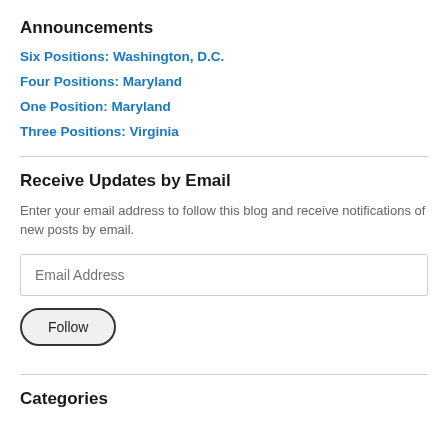Announcements
Six Positions: Washington, D.C.
Four Positions: Maryland
One Position: Maryland
Three Positions: Virginia
Receive Updates by Email
Enter your email address to follow this blog and receive notifications of new posts by email.
Categories